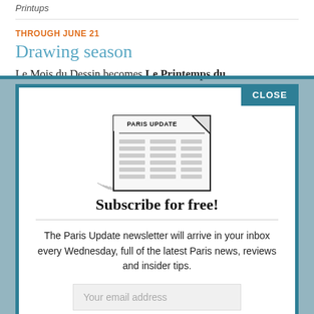THROUGH JUNE 21
Drawing season
Le Mois du Dessin becomes Le Printemps du
[Figure (illustration): Sketch illustration of a newspaper with 'PARIS UPDATE' as the headline and content lines below]
Subscribe for free!
The Paris Update newsletter will arrive in your inbox every Wednesday, full of the latest Paris news, reviews and insider tips.
CLOSE